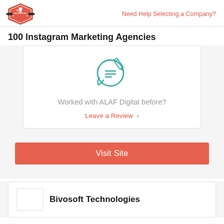Top Design Firms | Need Help Selecting a Company?
100 Instagram Marketing Agencies
[Figure (illustration): Teal outlined icon of a speech bubble with a pencil writing on a document inside it]
Worked with ALAF Digital before?
Leave a Review >
Visit Site
Bivosoft Technologies